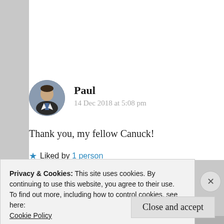Paul
14 Dec 2018 at 5:08 pm
Thank you, my fellow Canuck!
★ Liked by 1 person
↪ Reply
Privacy & Cookies: This site uses cookies. By continuing to use this website, you agree to their use.
To find out more, including how to control cookies, see here:
Cookie Policy
Close and accept